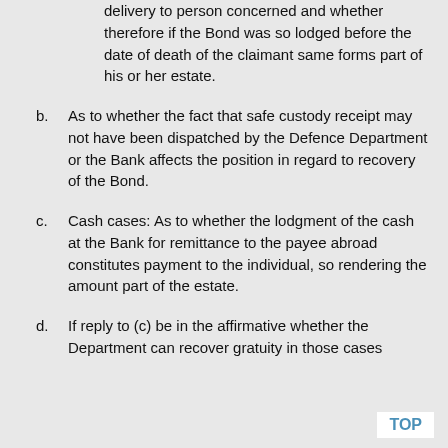delivery to person concerned and whether therefore if the Bond was so lodged before the date of death of the claimant same forms part of his or her estate.
b. As to whether the fact that safe custody receipt may not have been dispatched by the Defence Department or the Bank affects the position in regard to recovery of the Bond.
c. Cash cases: As to whether the lodgment of the cash at the Bank for remittance to the payee abroad constitutes payment to the individual, so rendering the amount part of the estate.
d. If reply to (c) be in the affirmative whether the Department can recover gratuity in those cases